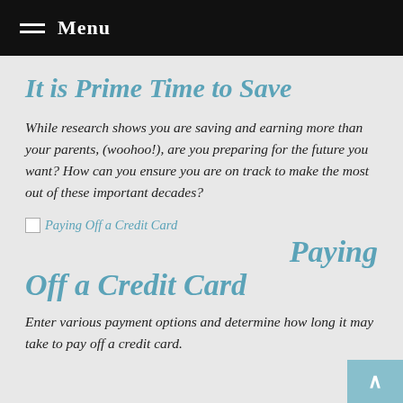Menu
It is Prime Time to Save
While research shows you are saving and earning more than your parents, (woohoo!), are you preparing for the future you want? How can you ensure you are on track to make the most out of these important decades?
[Figure (other): Broken image placeholder labeled 'Paying Off a Credit Card']
Paying Off a Credit Card
Enter various payment options and determine how long it may take to pay off a credit card.